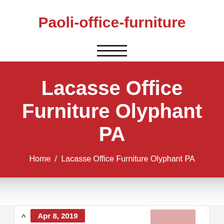Paoli-office-furniture
[Figure (other): Hamburger menu icon — three horizontal lines]
Lacasse Office Furniture Olyphant PA
Home / Lacasse Office Furniture Olyphant PA
Apr 8, 2019